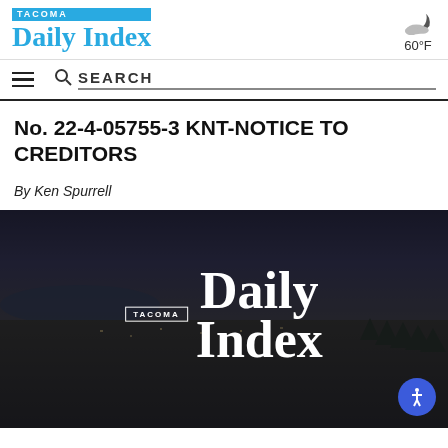TACOMA Daily Index | 60°F
No. 22-4-05755-3 KNT-NOTICE TO CREDITORS
By Ken Spurrell
[Figure (photo): Aerial photo of Tacoma, WA at dusk with darkened overlay showing the Tacoma Daily Index logo in white text centered on the image, with an accessibility button in the lower right corner.]